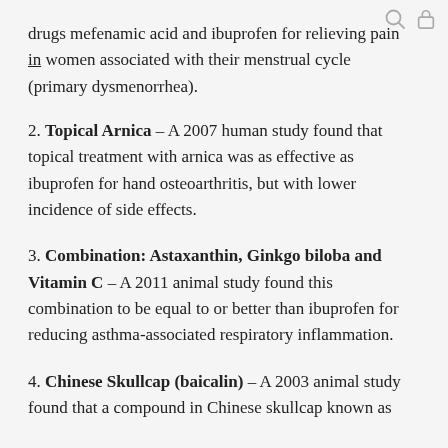drugs mefenamic acid and ibuprofen for relieving pain in women associated with their menstrual cycle (primary dysmenorrhea).
2. Topical Arnica – A 2007 human study found that topical treatment with arnica was as effective as ibuprofen for hand osteoarthritis, but with lower incidence of side effects.
3. Combination: Astaxanthin, Ginkgo biloba and Vitamin C – A 2011 animal study found this combination to be equal to or better than ibuprofen for reducing asthma-associated respiratory inflammation.
4. Chinese Skullcap (baicalin) – A 2003 animal study found that a compound in Chinese skullcap known as